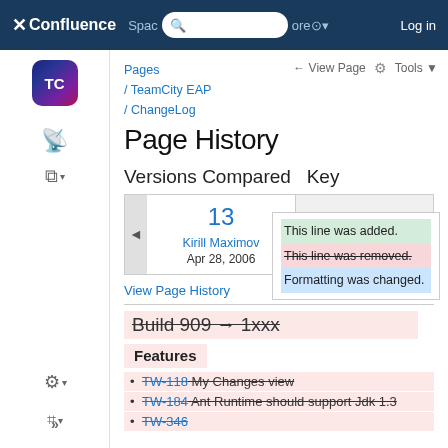Confluence — Spaces — More — Log in
Page History
Pages / TeamCity EAP / ChangeLog
Versions Compared   Key
| Version | Author | Date |
| --- | --- | --- |
| 13 | Kirill Maximov | Apr 28, 2006 |
| (truncated) | Maria... | Feb 25, 2021 |
Key: This line was added. This line was removed. Formatting was changed.
View Page History
Build 909 → 1xxx
Features
TW-118  My Changes view
TW-184  Ant Runtime should support Jdk 1.3
TW-346  (truncated)